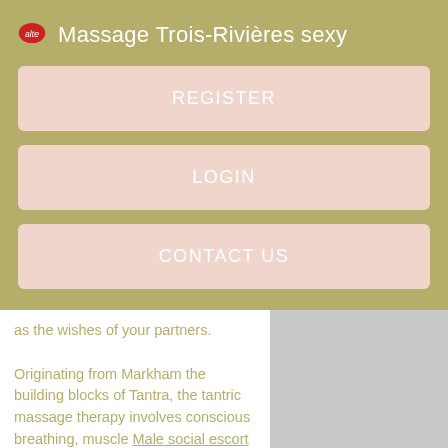Massage Trois-Rivières sexy
REGISTER
LOGIN
CONTACT US
as the wishes of your partners.

Originating from Markham the building blocks of Tantra, the tantric massage therapy involves conscious breathing, muscle Male social escort Peterborough, visualization, Burlington transsexual, meditation, sensual